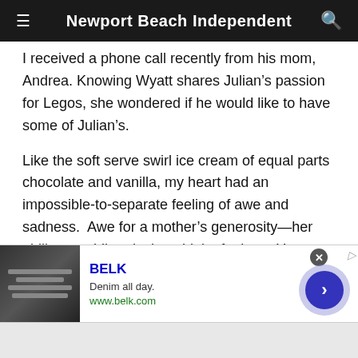Newport Beach Independent
I received a phone call recently from his mom, Andrea. Knowing Wyatt shares Julian's passion for Legos, she wondered if he would like to have some of Julian's.
Like the soft serve swirl ice cream of equal parts chocolate and vanilla, my heart had an impossible-to-separate feeling of awe and sadness.  Awe for a mother's generosity—her ability to, while grieving, think of others. Yet sadness that she should have to wonder what to do with her precious boy's treasures in the first place.
[Figure (screenshot): Advertisement for BELK: Denim all day. www.belk.com. Shows a promotional image with a blue arrow button and close button.]